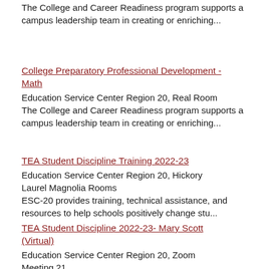The College and Career Readiness program supports a campus leadership team in creating or enriching...
College Preparatory Professional Development - Math
Education Service Center Region 20, Real Room
The College and Career Readiness program supports a campus leadership team in creating or enriching...
TEA Student Discipline Training 2022-23
Education Service Center Region 20, Hickory Laurel Magnolia Rooms
ESC-20 provides training, technical assistance, and resources to help schools positively change stu...
TEA Student Discipline 2022-23- Mary Scott (Virtual)
Education Service Center Region 20, Zoom Meeting 21
ESC-20 provides training, technical assistance, and resources to help schools positively change stu...